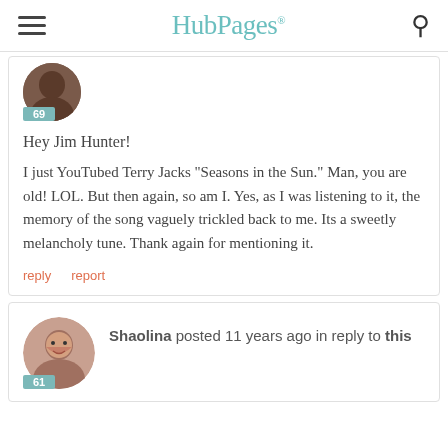HubPages
[Figure (photo): Partial avatar image with score badge 69]
Hey Jim Hunter!
I just YouTubed Terry Jacks "Seasons in the Sun." Man, you are old! LOL. But then again, so am I. Yes, as I was listening to it, the memory of the song vaguely trickled back to me. Its a sweetly melancholy tune. Thank again for mentioning it.
reply  report
Shaolina posted 11 years ago in reply to this
[Figure (photo): Avatar of Shaolina with score badge 61]